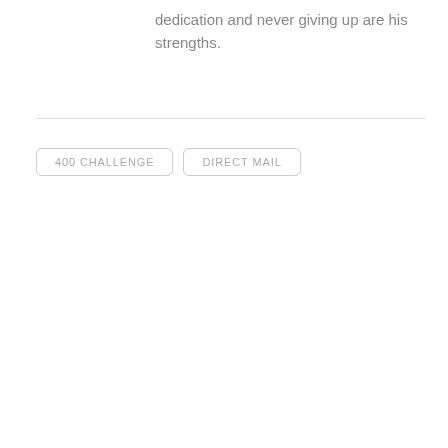dedication and never giving up are his strengths.
400 CHALLENGE
DIRECT MAIL